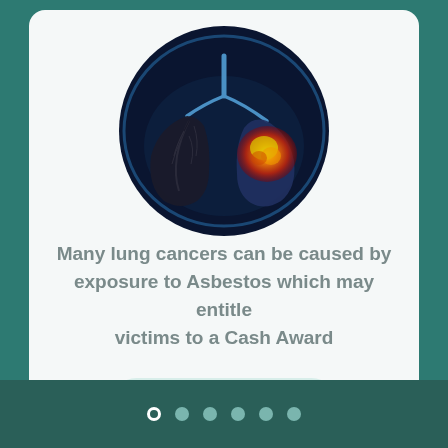[Figure (illustration): Medical illustration of human lungs shown in a circular frame. Left lung appears dark/diseased with branching dark structures. Right lung shows a glowing orange-red tumor mass. Set against a dark blue anatomical background.]
Many lung cancers can be caused by exposure to Asbestos which may entitle victims to a Cash Award
Get Started